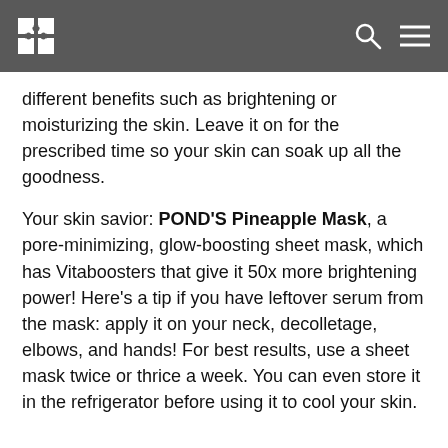[Logo] [Search] [Menu]
different benefits such as brightening or moisturizing the skin. Leave it on for the prescribed time so your skin can soak up all the goodness.
Your skin savior: POND'S Pineapple Mask, a pore-minimizing, glow-boosting sheet mask, which has Vitaboosters that give it 50x more brightening power! Here’s a tip if you have leftover serum from the mask: apply it on your neck, decolletage, elbows, and hands! For best results, use a sheet mask twice or thrice a week. You can even store it in the refrigerator before using it to cool your skin.